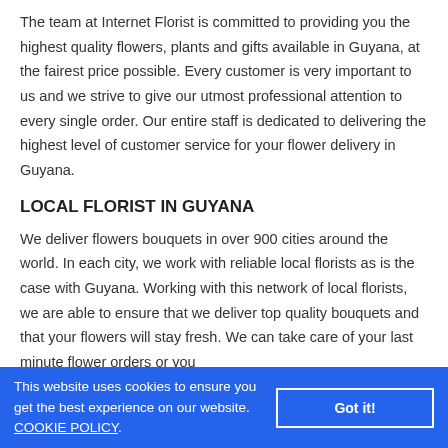The team at Internet Florist is committed to providing you the highest quality flowers, plants and gifts available in Guyana, at the fairest price possible. Every customer is very important to us and we strive to give our utmost professional attention to every single order. Our entire staff is dedicated to delivering the highest level of customer service for your flower delivery in Guyana.
LOCAL FLORIST IN GUYANA
We deliver flowers bouquets in over 900 cities around the world. In each city, we work with reliable local florists as is the case with Guyana. Working with this network of local florists, we are able to ensure that we deliver top quality bouquets and that your flowers will stay fresh. We can take care of your last minute flower orders or you
This website uses cookies to ensure you get the best experience on our website. COOKIE POLICY.